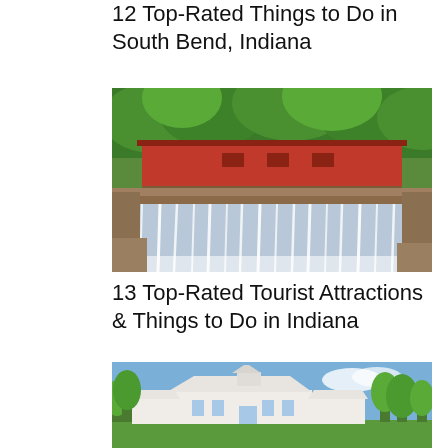12 Top-Rated Things to Do in South Bend, Indiana
[Figure (photo): A red covered bridge over a waterfall surrounded by green trees. Water cascades over a wide stone ledge into a misty pool below.]
13 Top-Rated Tourist Attractions & Things to Do in Indiana
[Figure (photo): A white building complex with multiple structures, green trees, and a blue sky — appears to be a resort or attraction in Indiana.]